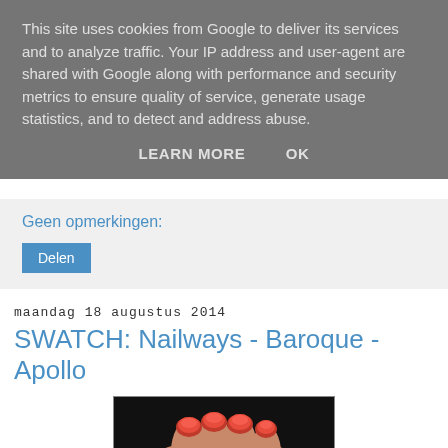This site uses cookies from Google to deliver its services and to analyze traffic. Your IP address and user-agent are shared with Google along with performance and security metrics to ensure quality of service, generate usage statistics, and to detect and address abuse.
LEARN MORE   OK
Geen opmerkingen:
Delen
maandag 18 augustus 2014
SWATCH: Nailways - Baroque - Apollo
[Figure (photo): Close-up photo of a hand with red/orange nail polish on fingers, dark background]